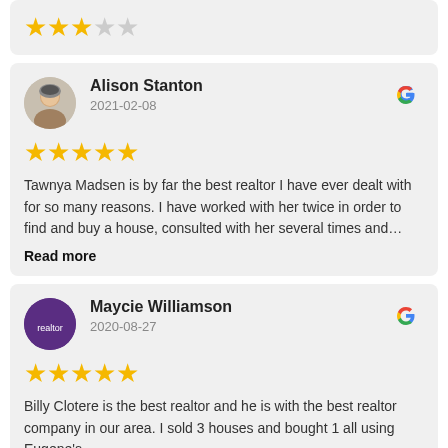[Figure (other): Top partial review card showing 3 filled stars and 2 empty stars rating]
Alison Stanton
2021-02-08
[Figure (other): 5 filled gold stars rating]
Tawnya Madsen is by far the best realtor I have ever dealt with for so many reasons. I have worked with her twice in order to find and buy a house, consulted with her several times and…
Read more
Maycie Williamson
2020-08-27
[Figure (other): 5 filled gold stars rating]
Billy Clotere is the best realtor and he is with the best realtor company in our area. I sold 3 houses and bought 1 all using Eugene's